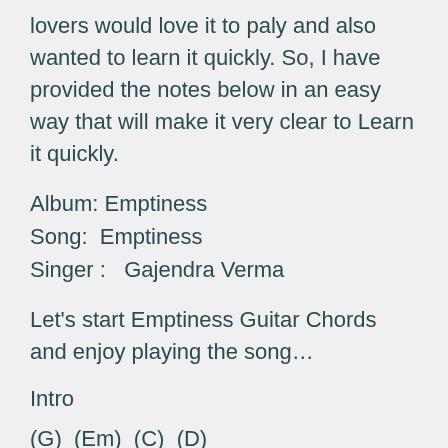lovers would love it to paly and also wanted to learn it quickly. So, I have provided the notes below in an easy way that will make it very clear to Learn it quickly.
Album: Emptiness
Song:  Emptiness
Singer :   Gajendra Verma
Let’s start Emptiness Guitar Chords and enjoy playing the song…
Intro
(G)  (Em)  (C)  (D)